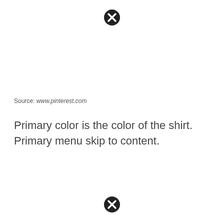[Figure (other): Blocked/unavailable image icon (circle with X) at top center]
Source: www.pinterest.com
Primary color is the color of the shirt. Primary menu skip to content.
[Figure (other): Blocked/unavailable image icon (circle with X) at bottom center]